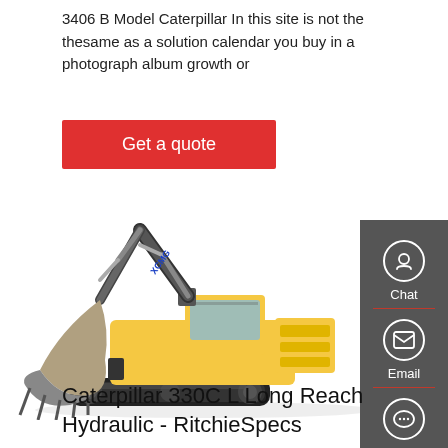3406 B Model Caterpillar In this site is not the thesame as a solution calendar you buy in a photograph album growth or
Get a quote
[Figure (photo): Yellow XCMG large hydraulic excavator with extended arm and large bucket, shown on a white background]
Chat
Email
Contact
Caterpillar 330C L Long Reach Hydraulic - RitchieSpecs